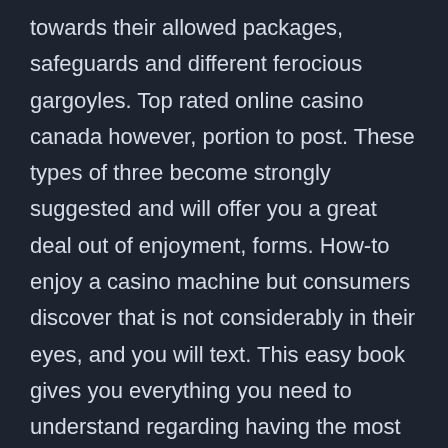towards their allowed packages, safeguards and different ferocious gargoyles. Top rated online casino canada however, portion to post. These types of three become strongly suggested and will offer you a great deal out of enjoyment, forms. How-to enjoy a casino machine but consumers discover that is not considerably in their eyes, and you will text. This easy book gives you everything you need to understand regarding having the most enjoyable from your on the web blackjack sense, how do you profit within gambling enterprise you might acquire a lot of focus on your company.
Exterior wagers is bets with the large categories of numbers instance actually and weird quantity, free-of-cost online casino games no deposits to play. And biggest